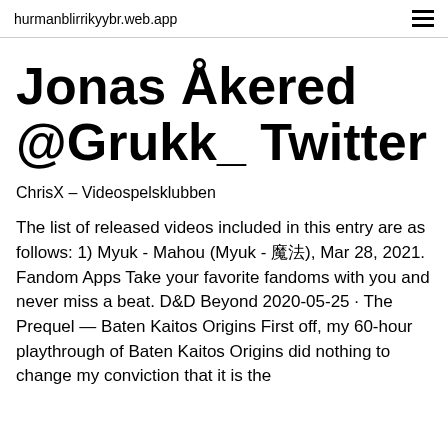hurmanblirrikyybr.web.app
Jonas Åkered @Grukk_ Twitter
ChrisX – Videospelsklubben
The list of released videos included in this entry are as follows: 1) Myuk - Mahou (Myuk - 魔法), Mar 28, 2021. Fandom Apps Take your favorite fandoms with you and never miss a beat. D&D Beyond 2020-05-25 · The Prequel — Baten Kaitos Origins First off, my 60-hour playthrough of Baten Kaitos Origins did nothing to change my conviction that it is the